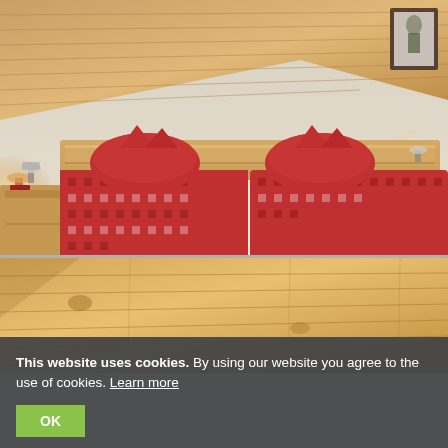[Figure (photo): Hotel bedroom with wooden ceiling, double bed with red checkered pillows and duvet, wooden headboard and nightstand, wall sconce lighting, framed picture on wall]
[Figure (photo): Close-up of wooden pine ceiling planks with warm lighting]
This website uses cookies. By using our website you agree to the use of cookies. Learn more
OK